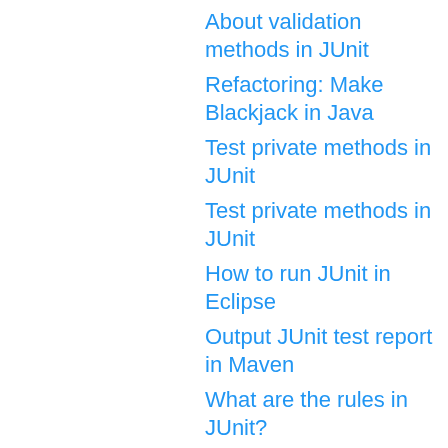About validation methods in JUnit
Refactoring: Make Blackjack in Java
Test private methods in JUnit
Test private methods in JUnit
How to run JUnit in Eclipse
Output JUnit test report in Maven
What are the rules in JUnit?
JUnit 4 notes
How to filter JUnit Test in Gradle
Control test order in Junit4 with enumeration